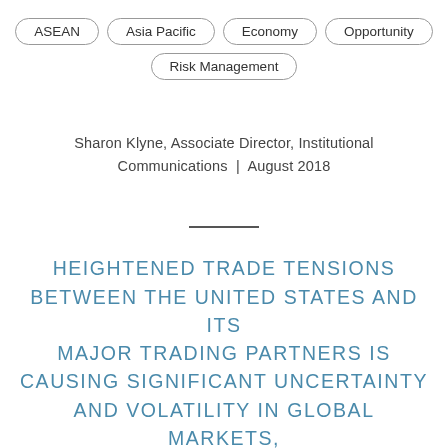ASEAN
Asia Pacific
Economy
Opportunity
Risk Management
Sharon Klyne, Associate Director, Institutional Communications  |  August 2018
HEIGHTENED TRADE TENSIONS BETWEEN THE UNITED STATES AND ITS MAJOR TRADING PARTNERS IS CAUSING SIGNIFICANT UNCERTAINTY AND VOLATILITY IN GLOBAL MARKETS, AS INVESTORS ASSESS THE GROWING RISKS OF A GLOBAL TRADE WAR.